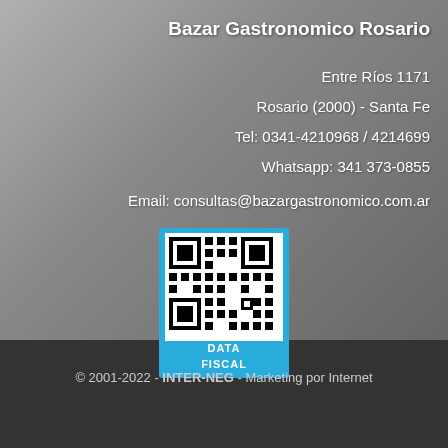Bazar Gastronomico Rosario
Entre Ríos 1171
Rosario (2000) - Santa Fe
Tel: 0341-4210968 / 4214699
Whatsapp: 341 373-0855
Email: consultas@bazargastronomico.com.ar
[Figure (other): QR code with blue border and DATA FISCAL label below]
© 2001-2022 - INTER-NEG - Marketing por Internet